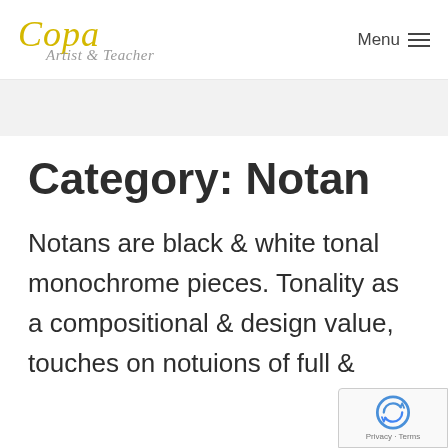Copa Artist & Teacher — Menu
Category: Notan
Notans are black & white tonal monochrome pieces. Tonality as a compositional & design value, touches on notuions of full &